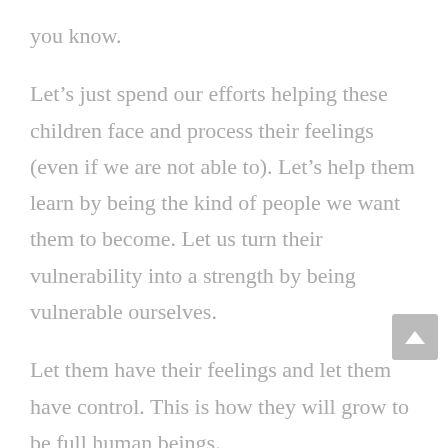you know.
Let’s just spend our efforts helping these children face and process their feelings (even if we are not able to). Let’s help them learn by being the kind of people we want them to become. Let us turn their vulnerability into a strength by being vulnerable ourselves.
Let them have their feelings and let them have control. This is how they will grow to be full human beings.